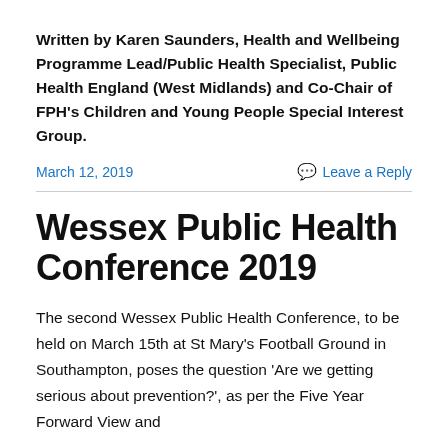Written by Karen Saunders, Health and Wellbeing Programme Lead/Public Health Specialist, Public Health England (West Midlands) and Co-Chair of FPH's Children and Young People Special Interest Group.
March 12, 2019
Leave a Reply
Wessex Public Health Conference 2019
The second Wessex Public Health Conference, to be held on March 15th at St Mary's Football Ground in Southampton, poses the question 'Are we getting serious about prevention?', as per the Five Year Forward View and